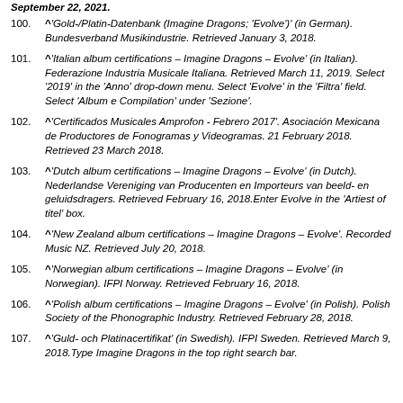100. ^'Gold-/Platin-Datenbank (Imagine Dragons; 'Evolve')' (in German). Bundesverband Musikindustrie. Retrieved January 3, 2018.
101. ^'Italian album certifications – Imagine Dragons – Evolve' (in Italian). Federazione Industria Musicale Italiana. Retrieved March 11, 2019. Select '2019' in the 'Anno' drop-down menu. Select 'Evolve' in the 'Filtra' field. Select 'Album e Compilation' under 'Sezione'.
102. ^'Certificados Musicales Amprofon - Febrero 2017'. Asociación Mexicana de Productores de Fonogramas y Videogramas. 21 February 2018. Retrieved 23 March 2018.
103. ^'Dutch album certifications – Imagine Dragons – Evolve' (in Dutch). Nederlandse Vereniging van Producenten en Importeurs van beeld- en geluidsdragers. Retrieved February 16, 2018.Enter Evolve in the 'Artiest of titel' box.
104. ^'New Zealand album certifications – Imagine Dragons – Evolve'. Recorded Music NZ. Retrieved July 20, 2018.
105. ^'Norwegian album certifications – Imagine Dragons – Evolve' (in Norwegian). IFPI Norway. Retrieved February 16, 2018.
106. ^'Polish album certifications – Imagine Dragons – Evolve' (in Polish). Polish Society of the Phonographic Industry. Retrieved February 28, 2018.
107. ^'Guld- och Platinacertifikat' (in Swedish). IFPI Sweden. Retrieved March 9, 2018.Type Imagine Dragons in the top right search bar.